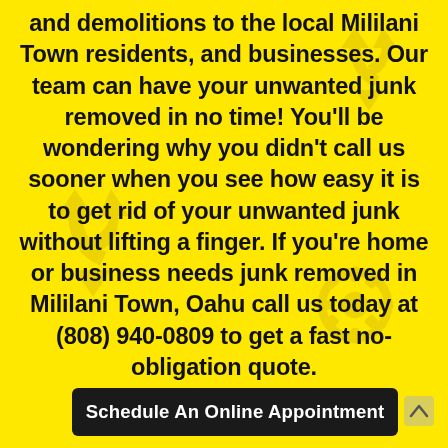and demolitions to the local Mililani Town residents, and businesses. Our team can have your unwanted junk removed in no time! You'll be wondering why you didn't call us sooner when you see how easy it is to get rid of your unwanted junk without lifting a finger. If you're home or business needs junk removed in Mililani Town, Oahu call us today at (808) 940-0809 to get a fast no-obligation quote.
Schedule An Online Appointment